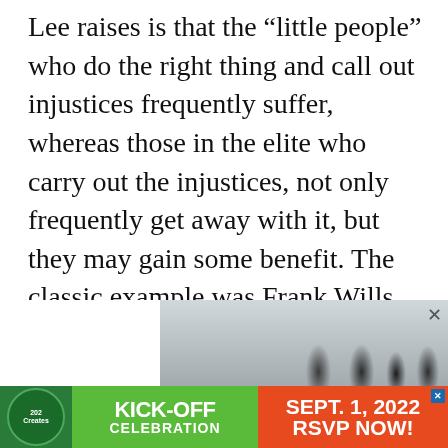Lee raises is that the “little people” who do the right thing and call out injustices frequently suffer, whereas those in the elite who carry out the injustices, not only frequently get away with it, but they may gain some benefit. The classic example was Frank Wills, the African-American security guard who discovered the Watergate break-in. For an action that should have netted him a medal, he found himself ultimately cast aside and treated as, in effect, a criminal.
[Figure (photo): Advertisement banner showing a group of people with a promotional event announcement: KICK-OFF CELEBRATION, SEPT. 1, 2022, RSVP NOW!]